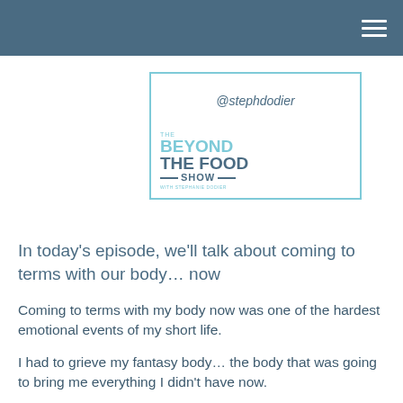[Figure (logo): The Beyond The Food Show podcast logo with @stephdodier handle inside a teal-bordered rectangle]
In today’s episode, we’ll talk about coming to terms with our body… now
Coming to terms with my body now was one of the hardest emotional events of my short life.
I had to grieve my fantasy body… the body that was going to bring me everything I didn’t have now.
Moreover, I had to grieve the thin ideal